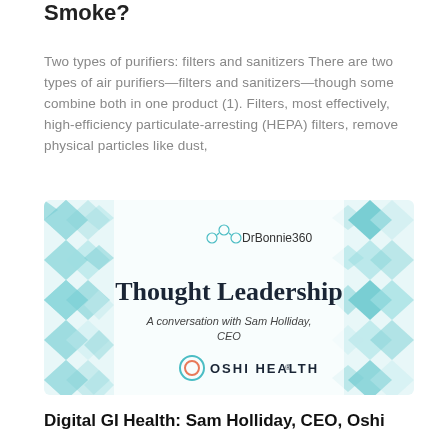Smoke?
Two types of purifiers: filters and sanitizers There are two types of air purifiers—filters and sanitizers—though some combine both in one product (1). Filters, most effectively, high-efficiency particulate-arresting (HEPA) filters, remove physical particles like dust,
[Figure (illustration): DrBonnie360 Thought Leadership banner image. A conversation with Sam Holliday, CEO. Oshi Health logo. Teal diamond pattern background.]
Digital GI Health: Sam Holliday, CEO, Oshi